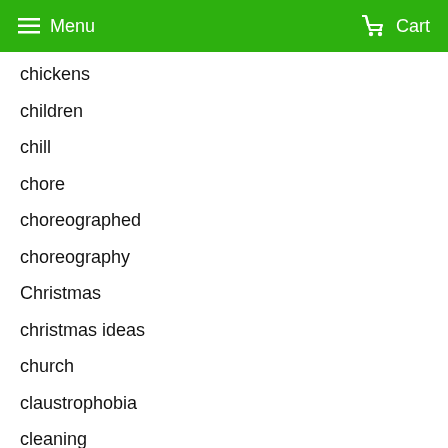Menu  Cart
chickens
children
chill
chore
choreographed
choreography
Christmas
christmas ideas
church
claustrophobia
cleaning
clothesline
Clothing
cold
Colds
comfort